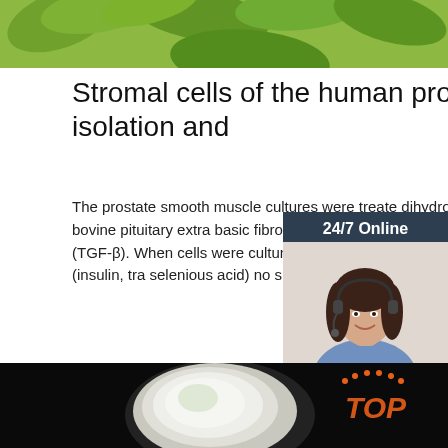[Figure (photo): Green leaves/plant background image at top]
Stromal cells of the human prostate: Initial isolation and
The prostate smooth muscle cultures were treated with dihydrotestosterone (DHT), bovine pituitary extra basic fibroblast growth factor (bFGF) and transfo factor-β (TGF-β). When cells were cultured in se RPMI-1640 supplemented with ITS+ (insulin, tra selenious acid) no significant ( P > 0.05 ...
[Figure (photo): Customer service representative with headset, 24/7 Online chat sidebar with QUOTATION button]
[Figure (photo): Black background with white powder substance in a dish and orange TOP logo watermark]